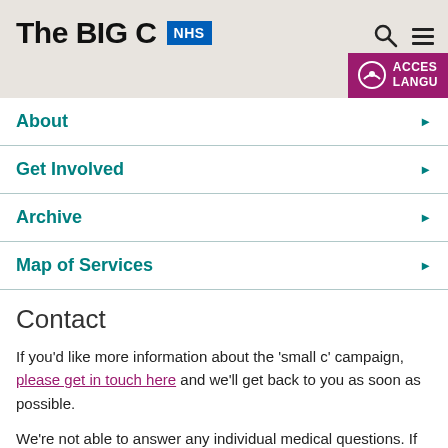The BIG C NHS
About
Get Involved
Archive
Map of Services
Contact
If you'd like more information about the 'small c' campaign, please get in touch here and we'll get back to you as soon as possible.
We're not able to answer any individual medical questions. If you are worried please visit your GP.